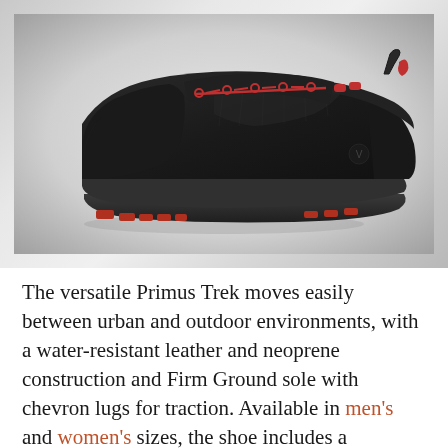[Figure (photo): Side profile of a black minimalist trail shoe (Primus Trek) with red laces and red accent lugs on the sole, photographed on a gradient grey-to-white background.]
The versatile Primus Trek moves easily between urban and outdoor environments, with a water-resistant leather and neoprene construction and Firm Ground sole with chevron lugs for traction. Available in men's and women's sizes, the shoe includes a neoprene ankle sock for secure flexibility and a removable thermal